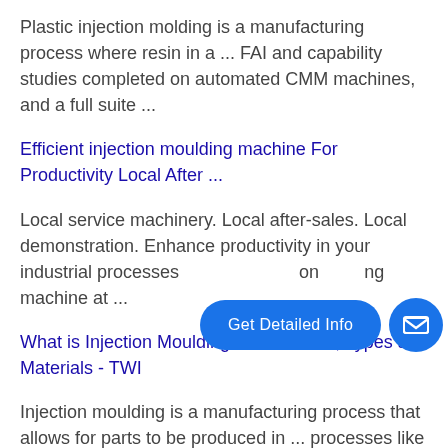Plastic injection molding is a manufacturing process where resin in a ... FAI and capability studies completed on automated CMM machines, and a full suite ...
Efficient injection moulding machine For Productivity Local After ...
Local service machinery. Local after-sales. Local demonstration. Enhance productivity in your industrial processes ... on ... ing machine at ...
[Figure (other): Blue pill-shaped 'Get Detailed Info' button and a blue circular email icon button overlaid on the page content]
What is Injection Moulding? – Definition, Types and Materials - TWI
Injection moulding is a manufacturing process that allows for parts to be produced in ... processes like CNC machining, which cuts away excess materials.
Used Plastic Injection Moulding Machinery 250, 450 T...